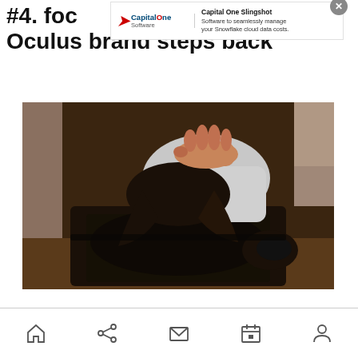#4. foc... Oculus brand steps back
[Figure (other): Advertisement banner for Capital One Slingshot — 'Software to seamlessly manage your Snowflake cloud data costs.' with Capital One Software logo and a close (X) button.]
[Figure (photo): A person's hand lifting an Oculus VR headset out of its black carry case, with VR controllers visible inside the case, set on a wooden surface.]
[Figure (other): Mobile app bottom navigation bar with icons: home, share, mail/envelope, calendar, and person/account.]